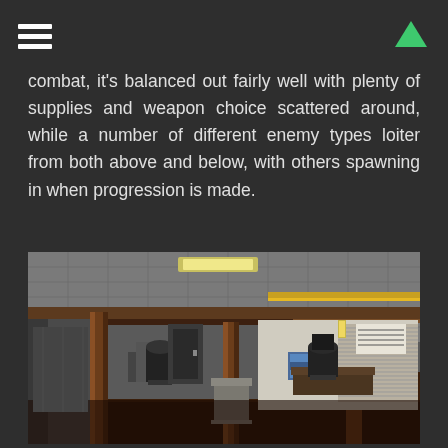[hamburger menu icon] [up arrow icon]
combat, it's balanced out fairly well with plenty of supplies and weapon choice scattered around, while a number of different enemy types loiter from both above and below, with others spawning in when progression is made.
[Figure (screenshot): 3D game environment screenshot showing an office interior with drop ceiling, fluorescent lights, wooden columns/beams, dark carpet floor, office chairs and desks, and a window with blinds in the background. The scene appears to be from a first-person perspective video game with retro-style graphics.]